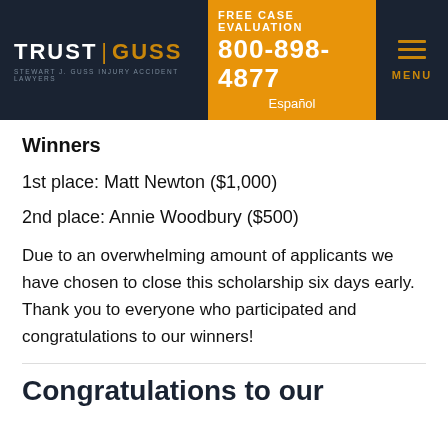TRUST | GUSS STEWART J. GUSS INJURY ACCIDENT LAWYERS | FREE CASE EVALUATION 800-898-4877 Español | MENU
Winners
1st place: Matt Newton ($1,000)
2nd place: Annie Woodbury ($500)
Due to an overwhelming amount of applicants we have chosen to close this scholarship six days early. Thank you to everyone who participated and congratulations to our winners!
Congratulations to our